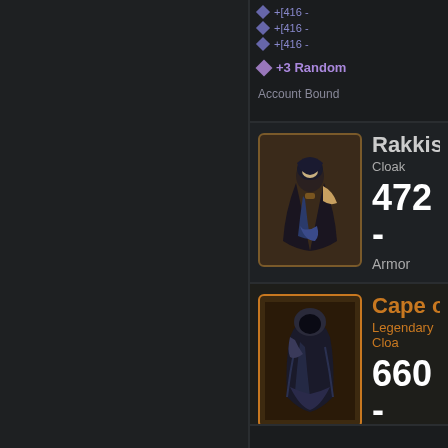+[416 -
+[416 -
+[416 -
+3 Random
Account Bound
Rakkisgard
Cloak
472 -
Armor
Cape of the
Legendary Cloa
660 -
Armor